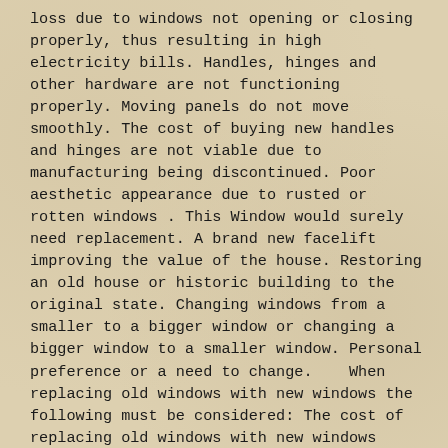loss due to windows not opening or closing properly, thus resulting in high electricity bills. Handles, hinges and other hardware are not functioning properly. Moving panels do not move smoothly. The cost of buying new handles and hinges are not viable due to manufacturing being discontinued. Poor aesthetic appearance due to rusted or rotten windows . This Window would surely need replacement. A brand new facelift improving the value of the house. Restoring an old house or historic building to the original state. Changing windows from a smaller to a bigger window or changing a bigger window to a smaller window. Personal preference or a need to change.    When replacing old windows with new windows the following must be considered: The cost of replacing old windows with new windows versus the cost of fixing the current windows. Comparing the hassle of replacing old windows versus enduring the hassle of fixing the old windows yourself. The type of material to be used when buying new windows. The features, advantages, and benefits of the different types of window replacement materials. Type of window, style, and colour of window frames. Energy efficiency, and